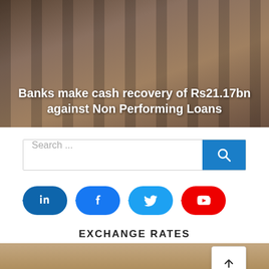[Figure (photo): Photo of a sandstone building with columns, showing a bank or government building facade]
Banks make cash recovery of Rs21.17bn against Non Performing Loans
[Figure (screenshot): Search bar with text 'Search ...' and a blue search button with magnifying glass icon]
[Figure (infographic): Social media icon buttons: LinkedIn (dark blue), Facebook (blue), Twitter (light blue), YouTube (red), each with a notched arrow shape]
EXCHANGE RATES
[Figure (photo): Photo of a building with 'KISTAN' text visible (partial Pakistan), likely State Bank of Pakistan]
[Figure (other): Scroll-to-top button with upward arrow]